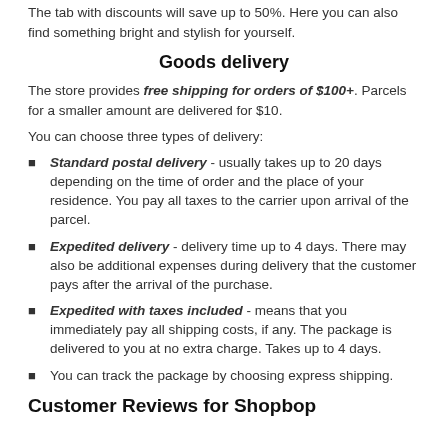discount will be valid if you subscribe to the newsletter site.
The tab with discounts will save up to 50%. Here you can also find something bright and stylish for yourself.
Goods delivery
The store provides free shipping for orders of $100+. Parcels for a smaller amount are delivered for $10.
You can choose three types of delivery:
Standard postal delivery - usually takes up to 20 days depending on the time of order and the place of your residence. You pay all taxes to the carrier upon arrival of the parcel.
Expedited delivery - delivery time up to 4 days. There may also be additional expenses during delivery that the customer pays after the arrival of the purchase.
Expedited with taxes included - means that you immediately pay all shipping costs, if any. The package is delivered to you at no extra charge. Takes up to 4 days.
You can track the package by choosing express shipping.
Customer Reviews for Shopbop